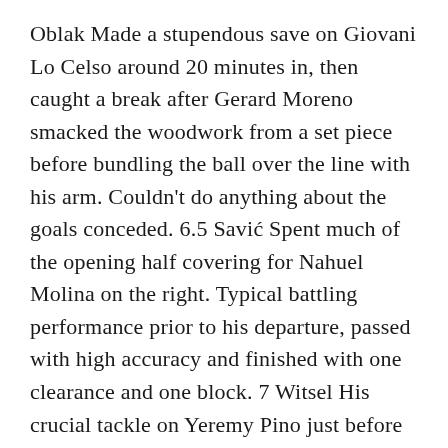Oblak Made a stupendous save on Giovani Lo Celso around 20 minutes in, then caught a break after Gerard Moreno smacked the woodwork from a set piece before bundling the ball over the line with his arm. Couldn't do anything about the goals conceded. 6.5 Savić Spent much of the opening half covering for Nahuel Molina on the right. Typical battling performance prior to his departure, passed with high accuracy and finished with one clearance and one block. 7 Witsel His crucial tackle on Yeremy Pino just before the first-half cooling break kept the game goalless. The Belgian led all Rojiblancos with 73 passes attempted and completed 69 of them in another composed performance at center-back. 7 Reinildo Villarreal knew better than to test the rugged